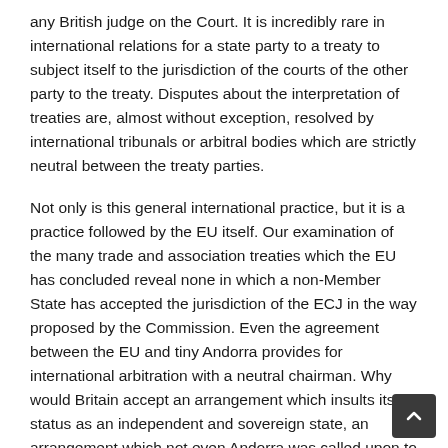any British judge on the Court. It is incredibly rare in international relations for a state party to a treaty to subject itself to the jurisdiction of the courts of the other party to the treaty. Disputes about the interpretation of treaties are, almost without exception, resolved by international tribunals or arbitral bodies which are strictly neutral between the treaty parties.
Not only is this general international practice, but it is a practice followed by the EU itself. Our examination of the many trade and association treaties which the EU has concluded reveal none in which a non-Member State has accepted the jurisdiction of the ECJ in the way proposed by the Commission. Even the agreement between the EU and tiny Andorra provides for international arbitration with a neutral chairman. Why would Britain accept an arrangement which insults its status as an independent and sovereign state, an arrangement which not even Andorra was called upon to accept? Why would the Commission expect it to? One possibility is that this has been proposed with the intention of sabotaging the Brexit negotiations with the UK.
Quite apart from the jurisdiction of a foreign court being